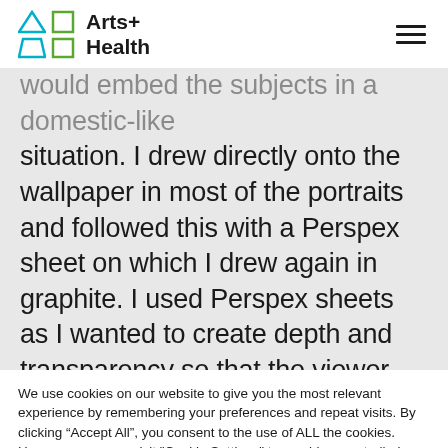Arts+ Health
would embed the subjects in a domestic-like situation. I drew directly onto the wallpaper in most of the portraits and followed this with a Perspex sheet on which I drew again in graphite. I used Perspex sheets as I wanted to create depth and transparency so that the viewer can see from one layer to the next and
We use cookies on our website to give you the most relevant experience by remembering your preferences and repeat visits. By clicking “Accept All”, you consent to the use of ALL the cookies. However, you may visit "Cookie Settings" to provide a controlled consent.